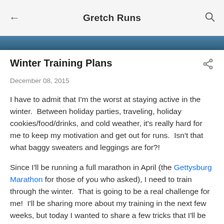Gretch Runs
Winter Training Plans
December 08, 2015
I have to admit that I'm the worst at staying active in the winter.  Between holiday parties, traveling, holiday cookies/food/drinks, and cold weather, it's really hard for me to keep my motivation and get out for runs.  Isn't that what baggy sweaters and leggings are for?!
Since I'll be running a full marathon in April (the Gettysburg Marathon for those of you who asked), I need to train through the winter.  That is going to be a real challenge for me!  I'll be sharing more about my training in the next few weeks, but today I wanted to share a few tricks that I'll be using to stay in